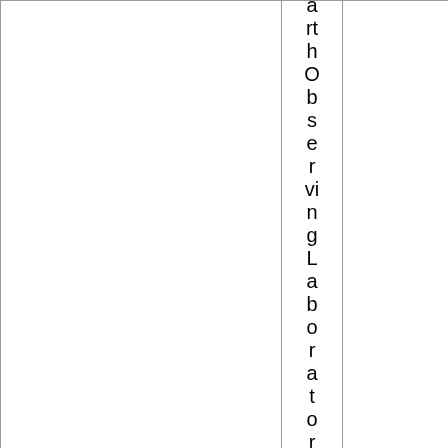| -EarthObservingLaboratory | A Uni | final 1.0
1996-02-01 |